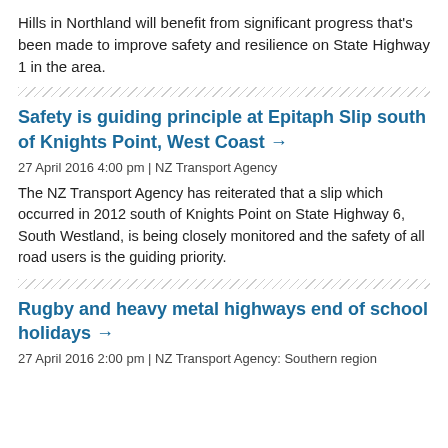Hills in Northland will benefit from significant progress that's been made to improve safety and resilience on State Highway 1 in the area.
Safety is guiding principle at Epitaph Slip south of Knights Point, West Coast →
27 April 2016 4:00 pm | NZ Transport Agency
The NZ Transport Agency has reiterated that a slip which occurred in 2012 south of Knights Point on State Highway 6, South Westland, is being closely monitored and the safety of all road users is the guiding priority.
Rugby and heavy metal highways end of school holidays →
27 April 2016 2:00 pm | NZ Transport Agency: Southern region